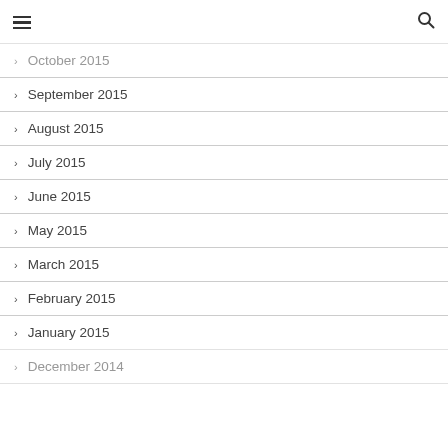≡  🔍
October 2015
September 2015
August 2015
July 2015
June 2015
May 2015
March 2015
February 2015
January 2015
December 2014